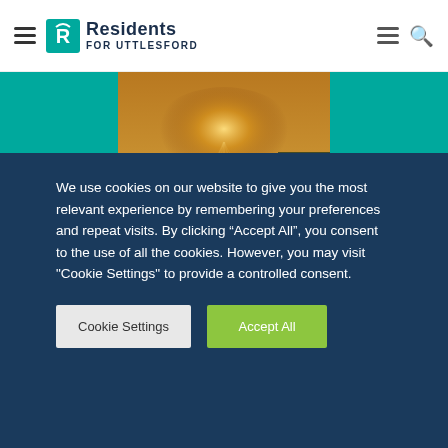Residents for Uttlesford
[Figure (photo): Misty water scene with golden light and a tripod/survey equipment standing in water]
Developers in Uttlesford urged to conserve water by Residents Administration at UDC
[Figure (photo): Partial image of a person wearing red Union Jack sunglasses]
We use cookies on our website to give you the most relevant experience by remembering your preferences and repeat visits. By clicking “Accept All”, you consent to the use of all the cookies. However, you may visit "Cookie Settings" to provide a controlled consent.